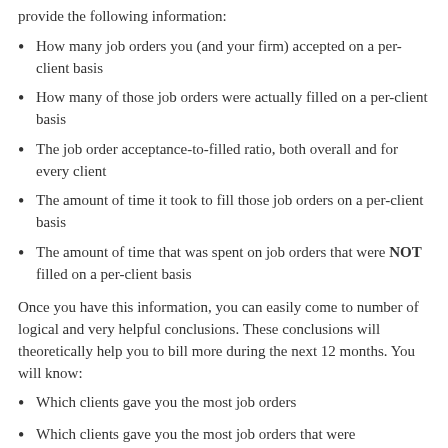provide the following information:
How many job orders you (and your firm) accepted on a per-client basis
How many of those job orders were actually filled on a per-client basis
The job order acceptance-to-filled ratio, both overall and for every client
The amount of time it took to fill those job orders on a per-client basis
The amount of time that was spent on job orders that were NOT filled on a per-client basis
Once you have this information, you can easily come to number of logical and very helpful conclusions. These conclusions will theoretically help you to bill more during the next 12 months. You will know:
Which clients gave you the most job orders
Which clients gave you the most job orders that were